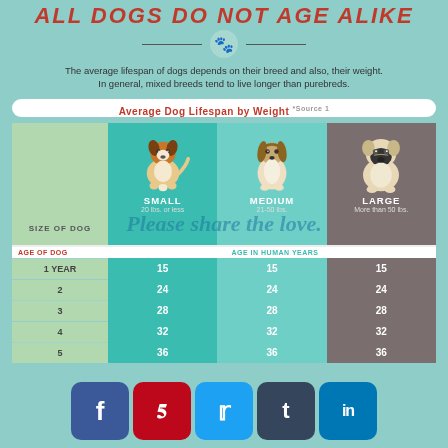ALL DOGS DO NOT AGE ALIKE
The average lifespan of dogs depends on their breed and also, their weight. In general, mixed breeds tend to live longer than purebreds.
[Figure (infographic): Infographic table showing average dog lifespan by weight (Small: 20 lbs or less, Medium: 21-50 lbs, Large: More than 50 lbs) with illustrated dogs and age comparison data]